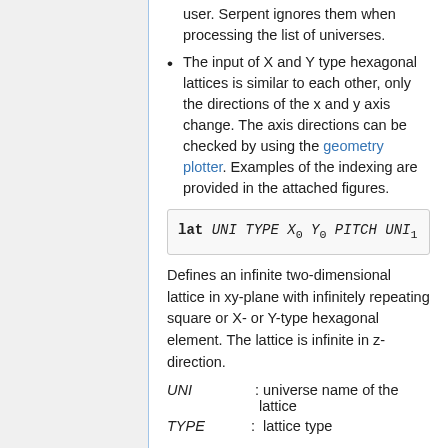user. Serpent ignores them when processing the list of universes.
The input of X and Y type hexagonal lattices is similar to each other, only the directions of the x and y axis change. The axis directions can be checked by using the geometry plotter. Examples of the indexing are provided in the attached figures.
Defines an infinite two-dimensional lattice in xy-plane with infinitely repeating square or X- or Y-type hexagonal element. The lattice is infinite in z-direction.
UNI : universe name of the lattice
TYPE : lattice type